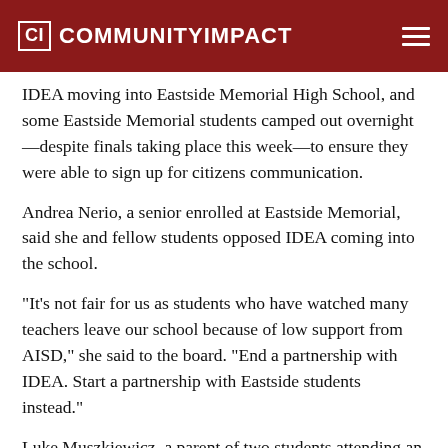CI COMMUNITYIMPACT
IDEA moving into Eastside Memorial High School, and some Eastside Memorial students camped out overnight—despite finals taking place this week—to ensure they were able to sign up for citizens communication.
Andrea Nerio, a senior enrolled at Eastside Memorial, said she and fellow students opposed IDEA coming into the school.
"It's not fair for us as students who have watched many teachers leave our school because of low support from AISD," she said to the board. "End a partnership with IDEA. Start a partnership with Eastside students instead."
Luke Muszkiewicz, a parent of two students attending an elementary school that is part of the Eastside Memorial